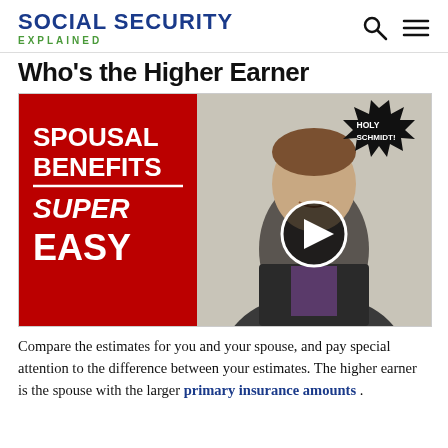SOCIAL SECURITY EXPLAINED
Who's the Higher Earner
[Figure (screenshot): Video thumbnail showing 'SPOUSAL BENEFITS SUPER EASY' on a red background on the left, and a smiling man in a suit with a 'HOLY SCHMIDT!' splat badge on the right, with a play button overlay.]
Compare the estimates for you and your spouse, and pay special attention to the difference between your estimates. The higher earner is the spouse with the larger primary insurance amounts .